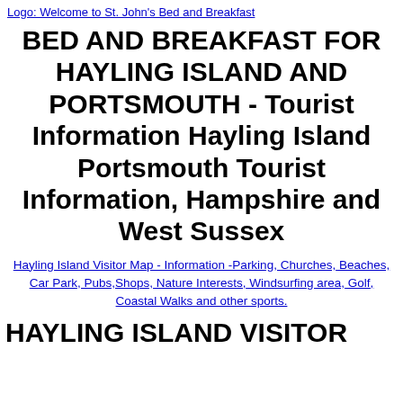[Figure (logo): Logo link: Welcome to St. John's Bed and Breakfast]
BED AND BREAKFAST FOR HAYLING ISLAND AND PORTSMOUTH - Tourist Information Hayling Island Portsmouth Tourist Information, Hampshire and West Sussex
Hayling Island Visitor Map - Information -Parking, Churches, Beaches, Car Park, Pubs,Shops, Nature Interests, Windsurfing area, Golf, Coastal Walks and other sports.
HAYLING ISLAND VISITOR